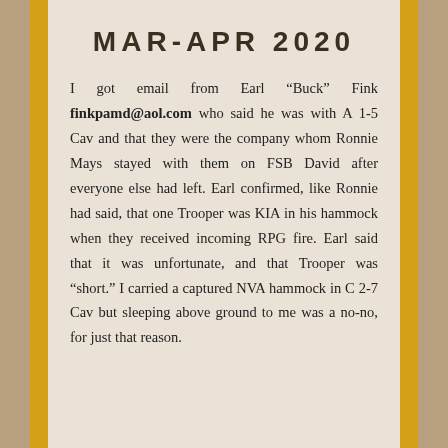MAR-APR 2020
I got email from Earl “Buck” Fink finkpamd@aol.com who said he was with A 1-5 Cav and that they were the company whom Ronnie Mays stayed with them on FSB David after everyone else had left. Earl confirmed, like Ronnie had said, that one Trooper was KIA in his hammock when they received incoming RPG fire. Earl said that it was unfortunate, and that Trooper was “short.” I carried a captured NVA hammock in C 2-7 Cav but sleeping above ground to me was a no-no, for just that reason.